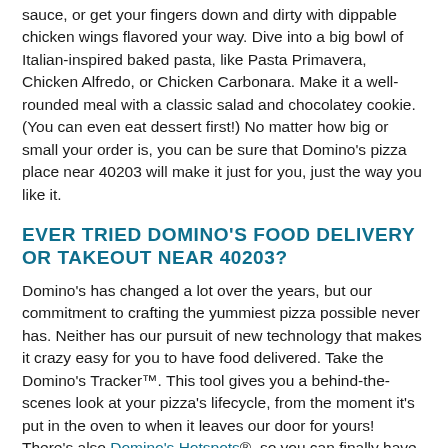sauce, or get your fingers down and dirty with dippable chicken wings flavored your way. Dive into a big bowl of Italian-inspired baked pasta, like Pasta Primavera, Chicken Alfredo, or Chicken Carbonara. Make it a well-rounded meal with a classic salad and chocolatey cookie. (You can even eat dessert first!) No matter how big or small your order is, you can be sure that Domino's pizza place near 40203 will make it just for you, just the way you like it.
EVER TRIED DOMINO'S FOOD DELIVERY OR TAKEOUT NEAR 40203?
Domino's has changed a lot over the years, but our commitment to crafting the yummiest pizza possible never has. Neither has our pursuit of new technology that makes it crazy easy for you to have food delivered. Take the Domino's Tracker™. This tool gives you a behind-the-scenes look at your pizza's lifecycle, from the moment it's put in the oven to when it leaves our door for yours! There's also Domino's Hotspots®, so you can finally have Domino's pizza, pasta, sandwiches, wings, desserts, and more delivered practically anywhere you want in Louisville — park